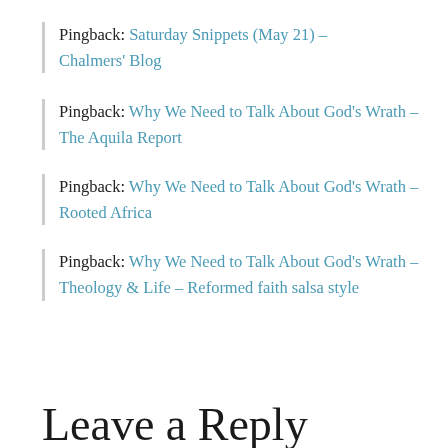Pingback: Saturday Snippets (May 21) – Chalmers' Blog
Pingback: Why We Need to Talk About God's Wrath – The Aquila Report
Pingback: Why We Need to Talk About God's Wrath – Rooted Africa
Pingback: Why We Need to Talk About God's Wrath – Theology & Life – Reformed faith salsa style
Leave a Reply